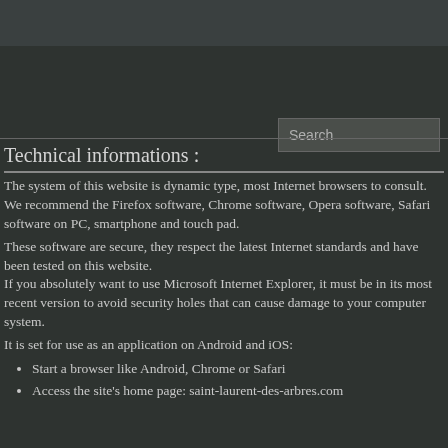Technical informations :
The system of this website is dynamic type, most Internet browsers to consult.
We recommend the Firefox software, Chrome software, Opera software, Safari software on PC, smartphone and touch pad.
These software are secure, they respect the latest Internet standards and have been tested on this website.
If you absolutely want to use Microsoft Internet Explorer, it must be in its most recent version to avoid security holes that can cause damage to your computer system.
It is set for use as an application on Android and iOS:
Start a browser like Android, Chrome or Safari
Access the site's home page: saint-laurent-des-arbres.com